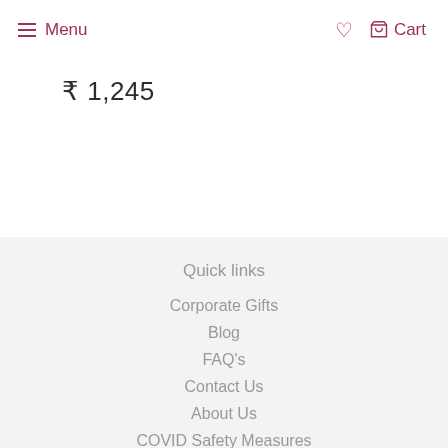Menu  ♥  Cart
₹ 1,245
Quick links
Corporate Gifts
Blog
FAQ's
Contact Us
About Us
COVID Safety Measures